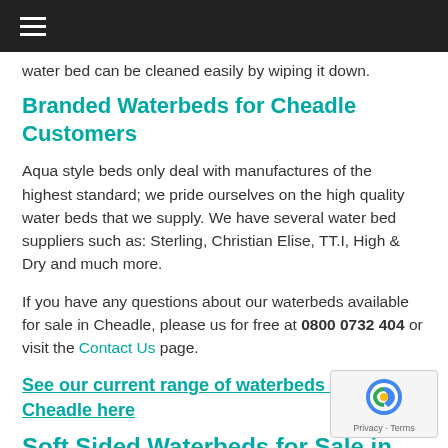≡ (navigation bar)
water bed can be cleaned easily by wiping it down.
Branded Waterbeds for Cheadle Customers
Aqua style beds only deal with manufactures of the highest standard; we pride ourselves on the high quality water beds that we supply. We have several water bed suppliers such as: Sterling, Christian Elise, TT.I, High & Dry and much more.
If you have any questions about our waterbeds available for sale in Cheadle, please us for free at 0800 0732 404 or visit the Contact Us page.
See our current range of waterbeds for sale in Cheadle here
Soft Sided Waterbeds for Sale in Cheadle